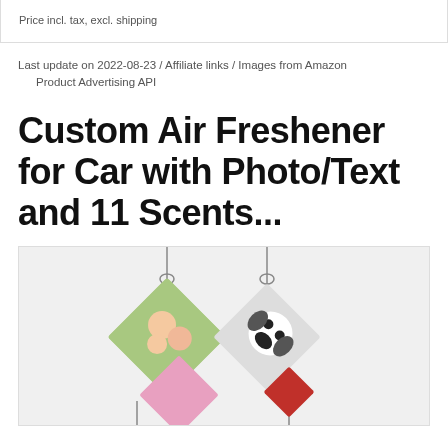Price incl. tax, excl. shipping
Last update on 2022-08-23 / Affiliate links / Images from Amazon Product Advertising API
Custom Air Freshener for Car with Photo/Text and 11 Scents...
[Figure (photo): Diamond-shaped custom air fresheners hanging, one with a family photo and one with a dog photo, and a pink diamond shaped freshener below]